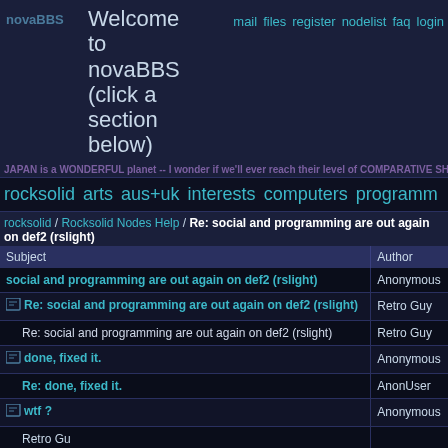novaBBS | Welcome to novaBBS (click a section below) | mail files register nodelist faq login
JAPAN is a WONDERFUL planet -- I wonder if we'll ever reach their level of COMPARATIVE SHOPPING ...
rocksolid  arts  aus+uk  interests  computers  programm
rocksolid / Rocksolid Nodes Help / Re: social and programming are out again on def2 (rslight)
| Subject | Author |
| --- | --- |
| social and programming are out again on def2 (rslight) | Anonymous |
| [icon] Re: social and programming are out again on def2 (rslight) | Retro Guy |
| Re: social and programming are out again on def2 (rslight) | Retro Guy |
| [icon] done, fixed it. | Anonymous |
| Re: done, fixed it. | AnonUser |
| [icon] wtf ? | Anonymous |